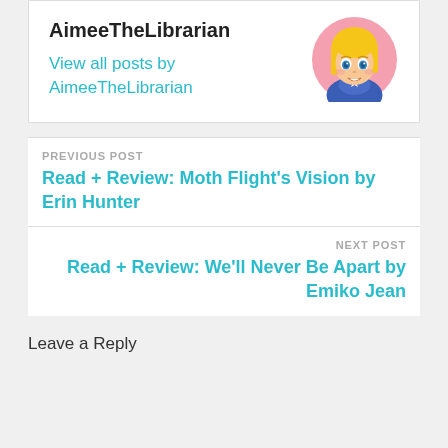AimeeTheLibrarian
View all posts by AimeeTheLibrarian
[Figure (illustration): Circular avatar image of an anime-style girl with blonde hair and blue eyes, wearing a blue uniform, with a pink background]
PREVIOUS POST
Read + Review: Moth Flight's Vision by Erin Hunter
NEXT POST
Read + Review: We'll Never Be Apart by Emiko Jean
Leave a Reply